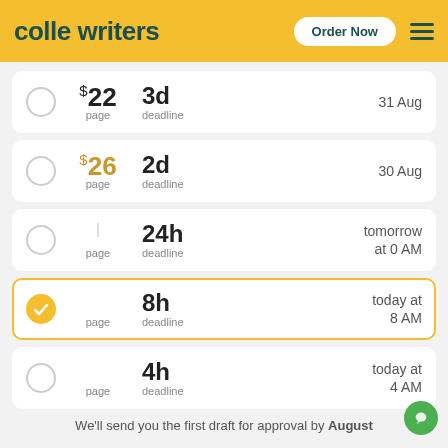colle writers  Order Now
$22 per page, 3d deadline, 31 Aug
$26 per page, 2d deadline, 30 Aug
page, 24h deadline, tomorrow at 0 AM
page, 8h deadline, today at 8 AM (selected)
page, 4h deadline, today at 4 AM
We'll send you the first draft for approval by August